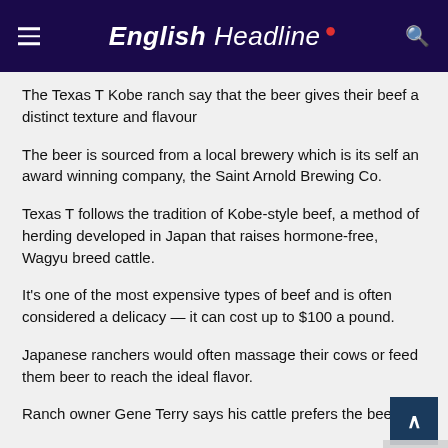English Headline
The Texas T Kobe ranch say that the beer gives their beef a distinct texture and flavour
The beer is sourced from a local brewery which is its self an award winning company, the Saint Arnold Brewing Co.
Texas T follows the tradition of Kobe-style beef, a method of herding developed in Japan that raises hormone-free, Wagyu breed cattle.
It's one of the most expensive types of beef and is often considered a delicacy — it can cost up to $100 a pound.
Japanese ranchers would often massage their cows or feed them beer to reach the ideal flavor.
Ranch owner Gene Terry says his cattle prefers the beef